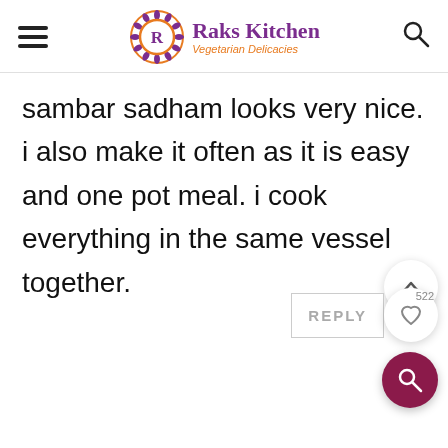Raks Kitchen — Vegetarian Delicacies
sambar sadham looks very nice. i also make it often as it is easy and one pot meal. i cook everything in the same vessel together.
REPLY
522
Sowmya
March 25, 2011 at 12:05